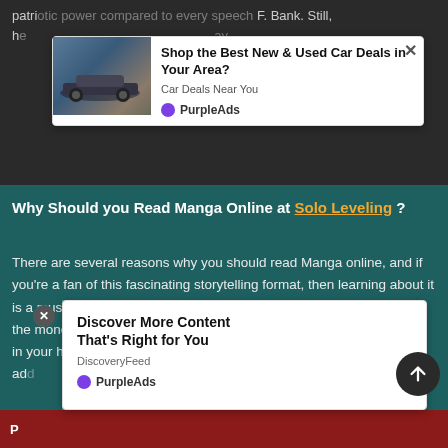patriotic power compared to every speech F. Bank. Still, he... ay
[Figure (screenshot): Advertisement popup: car photo on left, 'Shop the Best New & Used Car Deals in Your Area?' headline, 'Car Deals Near You' subtext, PurpleAds branding, close X button]
Why Should you Read Manga Online at Solo Leveling ?
There are several reasons why you should read Manga online, and if you're a fan of this fascinating storytelling format, then learning about it is a must. One of the main reasons you need to read Manga online is the money you can save. Although there's nothing like holding a book in your hands, books will add...
[Figure (screenshot): Second advertisement popup: 'Discover More Content That's Right for You', DiscoveryFeed, PurpleAds branding. Image shows person with telescope on teal background. Close X button on left.]
P